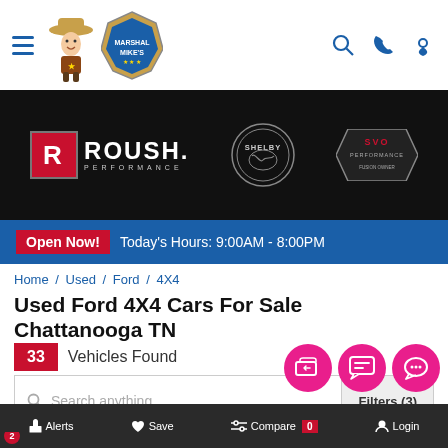[Figure (screenshot): Top navigation bar with hamburger menu, cowboy mascot logo and badge logo, search, phone, and location icons]
[Figure (screenshot): Black banner with ROUSH PERFORMANCE logo, Shelby badge, and SVO badge]
Open Now! Today's Hours: 9:00AM - 8:00PM
Home / Used / Ford / 4X4
Used Ford 4X4 Cars For Sale Chattanooga TN
33 Vehicles Found
[Figure (screenshot): Search input box with placeholder 'Search anything...' and Filters (3) button]
[Figure (screenshot): Filter pill row: Condition (badge 2), Price, Year, Make (badge 1), Model, More Filters, and sort bar PRICE | LOW TO HIGH]
[Figure (screenshot): Three pink FAB buttons for trade-in, chat, and messaging]
Alerts   Save   Compare 0   Login